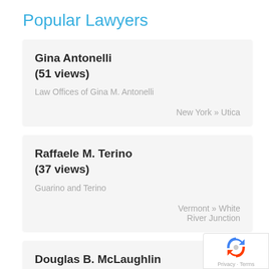Popular Lawyers
Gina Antonelli
(51 views)

Law Offices of Gina M. Antonelli

New York » Utica
Raffaele M. Terino
(37 views)

Guarino and Terino

Vermont » White River Junction
Douglas B. McLaughlin